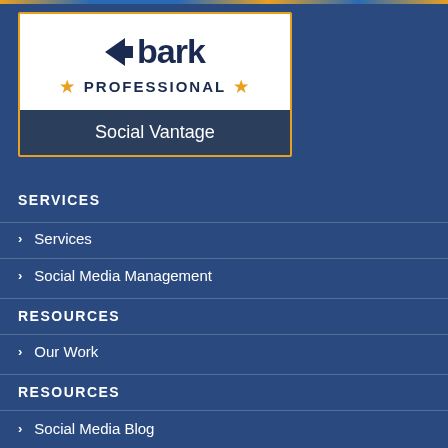[Figure (logo): Bark Professional logo with arrow icon, company name 'bark' in dark navy, 'PROFESSIONAL' text with gold stars, on white background. Below in dark navy bar: 'Social Vantage']
SERVICES
Services
Social Media Management
RESOURCES
Our Work
RESOURCES
Social Media Blog